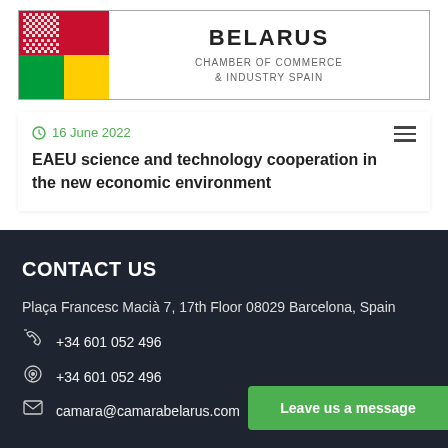[Figure (logo): Belarus Chamber of Commerce & Industry Spain logo with Belarus and Spain flag colors and text]
16 June 2022
EAEU science and technology cooperation in the new economic environment
CONTACT US
Plaça Francesc Macià 7, 17th Floor 08029 Barcelona, Spain
+34 601 052 496
+34 601 052 496
camara@camarabelarus.com